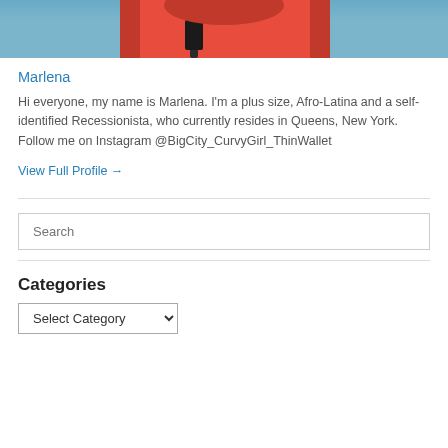[Figure (photo): Cropped photo showing a person in a red top with a dark bag/strap, partial view, against a blue background]
Marlena
Hi everyone, my name is Marlena. I'm a plus size, Afro-Latina and a self-identified Recessionista, who currently resides in Queens, New York. Follow me on Instagram @BigCity_CurvyGirl_ThinWallet
View Full Profile →
Search
Categories
Select Category